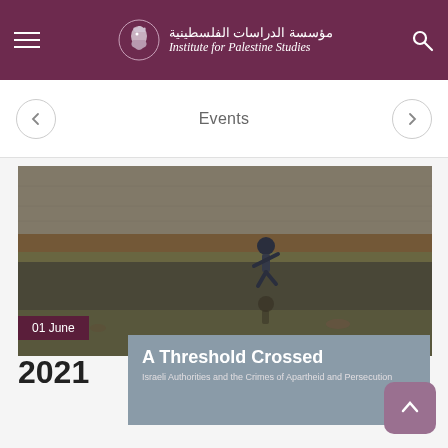مؤسسة الدراسات الفلسطينية — Institute for Palestine Studies
Events
[Figure (photo): A child running near water with a reflection visible, in front of a concrete wall. Date label '01 June' overlaid on bottom left.]
01 June
2021
A Threshold Crossed
Israeli Authorities and the Crimes of Apartheid and Persecution